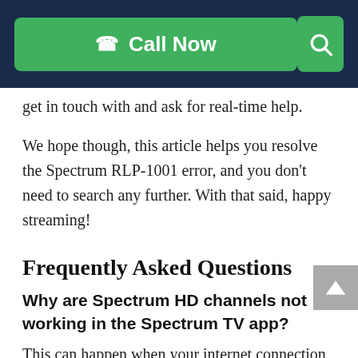Call Now [search icon]
get in touch with and ask for real-time help.
We hope though, this article helps you resolve the Spectrum RLP-1001 error, and you don’t need to search any further. With that said, happy streaming!
Frequently Asked Questions
Why are Spectrum HD channels not working in the Spectrum TV app?
This can happen when your internet connection is unable to support streaming.